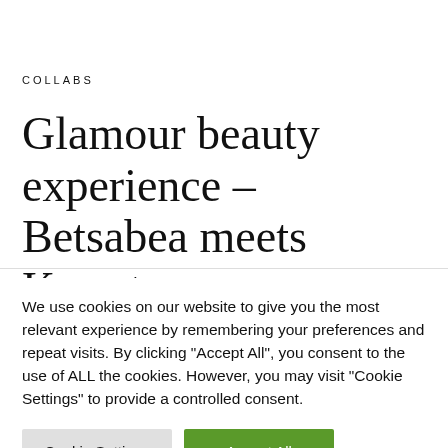COLLABS
Glamour beauty experience – Betsabea meets Kerastase
We use cookies on our website to give you the most relevant experience by remembering your preferences and repeat visits. By clicking "Accept All", you consent to the use of ALL the cookies. However, you may visit "Cookie Settings" to provide a controlled consent.
Cookie Settings | Accept All